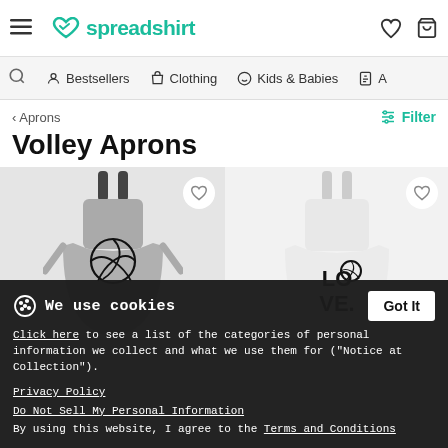spreadshirt
Bestsellers  Clothing  Kids & Babies
< Aprons
Volley Aprons
[Figure (photo): Two product images: (left) a grey apron with a volleyball graphic design; (right) a white apron with 'LOVE' text and volleyball as the O]
We use cookies
Click here to see a list of the categories of personal information we collect and what we use them for ("Notice at Collection").
Privacy Policy
Do Not Sell My Personal Information
By using this website, I agree to the Terms and Conditions
volley Apron  $27.99
Apron
volley love
$27.99